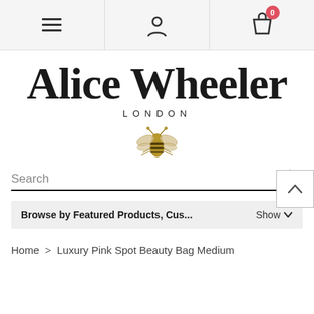Navigation bar with menu, user, and cart icons
Alice Wheeler LONDON
[Figure (illustration): Golden bee illustration logo for Alice Wheeler London]
Search
Browse by Featured Products, Cus...  Show
Home > Luxury Pink Spot Beauty Bag Medium